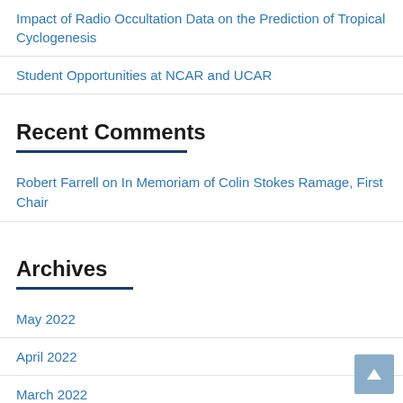Impact of Radio Occultation Data on the Prediction of Tropical Cyclogenesis
Student Opportunities at NCAR and UCAR
Recent Comments
Robert Farrell on In Memoriam of Colin Stokes Ramage, First Chair
Archives
May 2022
April 2022
March 2022
February 2022